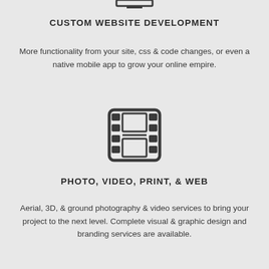[Figure (illustration): Monitor/computer icon at top of page (partially cut off)]
CUSTOM WEBSITE DEVELOPMENT
More functionality from your site, css & code changes, or even a native mobile app to grow your online empire.
[Figure (illustration): Film reel / movie strip icon]
PHOTO, VIDEO, PRINT, & WEB
Aerial, 3D, & ground photography & video services to bring your project to the next level. Complete visual & graphic design and branding services are available.